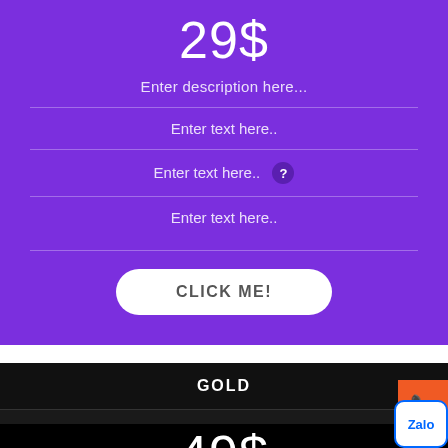29$
Enter description here...
Enter text here..
Enter text here..
Enter text here..
CLICK ME!
GOLD
49$
Enter description here...